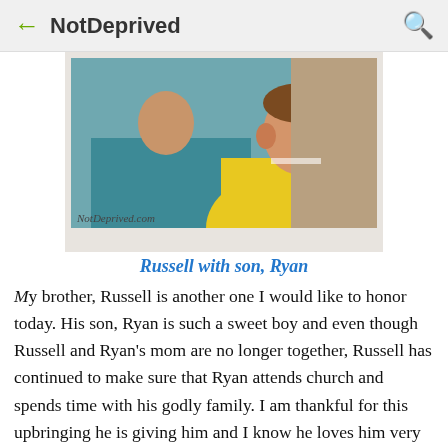← NotDeprived 🔍
[Figure (photo): Photo of Russell with son Ryan, a man in a teal shirt and a child in a yellow shirt, polaroid-style frame with watermark NotDeprived.com]
Russell with son, Ryan
My brother, Russell is another one I would like to honor today. His son, Ryan is such a sweet boy and even though Russell and Ryan's mom are no longer together, Russell has continued to make sure that Ryan attends church and spends time with his godly family. I am thankful for this upbringing he is giving him and I know he loves him very much.